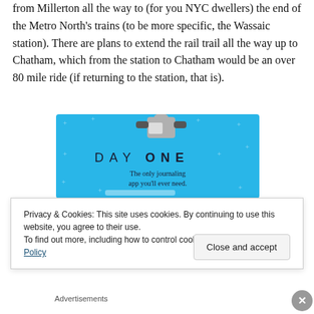from Millerton all the way to (for you NYC dwellers) the end of the Metro North's trains (to be more specific, the Wassaic station). There are plans to extend the rail trail all the way up to Chatham, which from the station to Chatham would be an over 80 mile ride (if returning to the station, that is).
[Figure (illustration): DAY ONE app advertisement on blue background with journaling app tagline]
Privacy & Cookies: This site uses cookies. By continuing to use this website, you agree to their use.
To find out more, including how to control cookies, see here: Cookie Policy
Close and accept
Advertisements